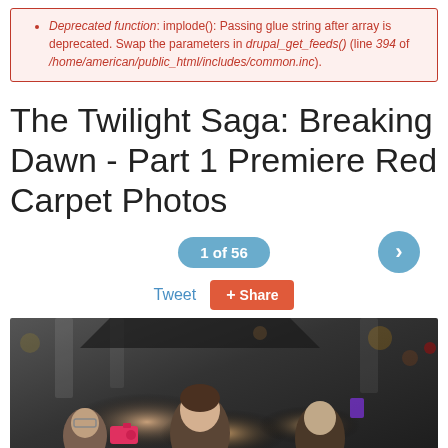Deprecated function: implode(): Passing glue string after array is deprecated. Swap the parameters in drupal_get_feeds() (line 394 of /home/american/public_html/includes/common.inc).
The Twilight Saga: Breaking Dawn - Part 1 Premiere Red Carpet Photos
1 of 56
Tweet  Share
[Figure (photo): Crowd photo at The Twilight Saga Breaking Dawn Part 1 premiere red carpet event, showing actors among fans with cameras and purple wristbands.]